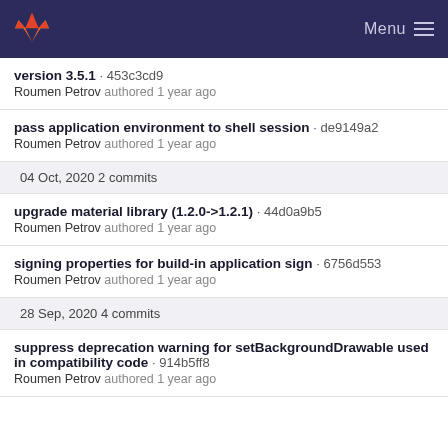GitLab — Menu
version 3.5.1 · 453c3cd9
Roumen Petrov authored 1 year ago
pass application environment to shell session · de9149a2
Roumen Petrov authored 1 year ago
04 Oct, 2020 2 commits
upgrade material library (1.2.0->1.2.1) · 44d0a9b5
Roumen Petrov authored 1 year ago
signing properties for build-in application sign · 6756d553
Roumen Petrov authored 1 year ago
28 Sep, 2020 4 commits
suppress deprecation warning for setBackgroundDrawable used in compatibility code · 914b5ff8
Roumen Petrov authored 1 year ago